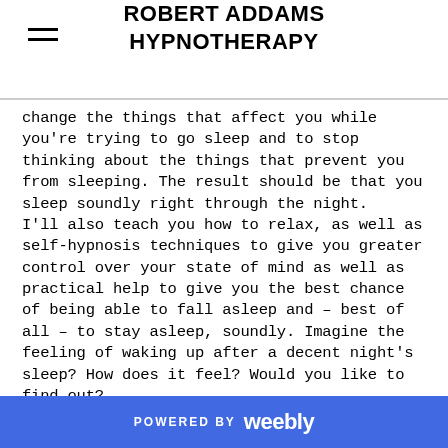ROBERT ADDAMS HYPNOTHERAPY
change the things that affect you while you're trying to go sleep and to stop thinking about the things that prevent you from sleeping. The result should be that you sleep soundly right through the night.
I'll also teach you how to relax, as well as self-hypnosis techniques to give you greater control over your state of mind as well as practical help to give you the best chance of being able to fall asleep and – best of all – to stay asleep, soundly. Imagine the feeling of waking up after a decent night's sleep? How does it feel? Would you like to find out?
POWERED BY weebly